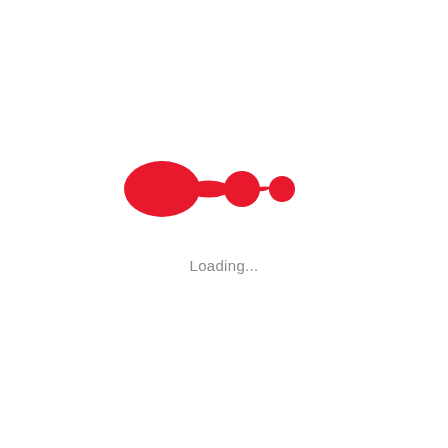[Figure (other): A red loading animation shape consisting of a large elongated blob on the left connected to a medium circle in the middle and a smaller circle on the right, resembling a loading indicator.]
Loading...